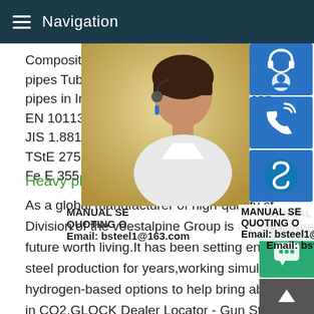Navigation
Composition Carbon; 0 Jindal Steel Seam pipes Tubos is one of the most prominent pipes in India.We help to solve Stress com EN 10113-3 SEW 083 NFA 36-201 UNI 73 JIS 1.8818 S275M StE 275 TM Fe E 275 TStE 275 TM Fe E 275 KTTM 1.8823 S35 Fe E 355 KGTM A
Heavy plates made of genera
As a global manufacturer of high-quality st Division of the voestalpine Group is a driving force toward a clean future worth living.It has been setting environmental benchmarks in steel production for years,working simultaneously on future hydrogen-based options to help bring about steelmaking route in CO2.GLOCK Dealer Locator - Gun Stores Near Me - GLO IncShow LE Dealers Blue Label LE Distributors This website d
[Figure (photo): Woman with headset smiling, customer service representative photo, partially visible on right side of page]
[Figure (infographic): Three blue icon buttons on far right: headset/chat icon, phone icon, Skype icon. MANUAL SE, QUOTING O, Email: bsteel1@163.com overlay text. Green chat bubble and gray up-arrow at bottom right.]